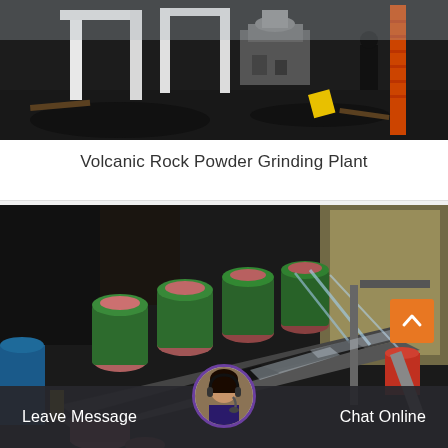[Figure (photo): Volcanic rock powder grinding plant equipment outdoors on dark ground, with machinery, white frames, and a person visible in background]
Volcanic Rock Powder Grinding Plant
[Figure (photo): Industrial grinding machinery indoors showing multiple green and metal grinding mills with water flowing, black material on conveyor belts]
Leave Message
Chat Online